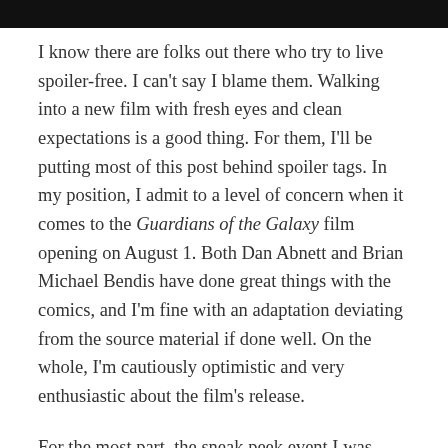[Figure (other): Black header bar at the top of the page]
I know there are folks out there who try to live spoiler-free. I can't say I blame them. Walking into a new film with fresh eyes and clean expectations is a good thing. For them, I'll be putting most of this post behind spoiler tags. In my position, I admit to a level of concern when it comes to the Guardians of the Galaxy film opening on August 1. Both Dan Abnett and Brian Michael Bendis have done great things with the comics, and I'm fine with an adaptation deviating from the source material if done well. On the whole, I'm cautiously optimistic and very enthusiastic about the film's release.
For the most part, the sneak peek event I was fortunate enough to attend on Monday reinforced most of my expectations. Folks, if you have had faith in Marvel Studios so far, in terms of quality films that bring comic